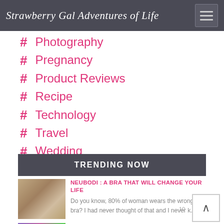Strawberry Gal Adventures of Life
# Photography
# Pregnancy
# Product Reviews
# Recipe
# Technology
# Travel
# Wedding
TRENDING NOW
NEUBODI : A BRA THAT WILL CHANGE YOUR LIFE
Do you know, 80% of woman wears the wrong bra? I had never thought of that and I never k...